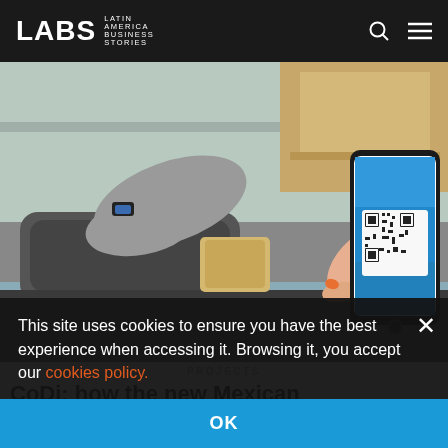LABS LATIN AMERICA BUSINESS STORIES
[Figure (photo): Person at a checkout counter holding a smartphone displaying a QR code, with a small package on the counter, suggesting mobile payment or digital wallet usage.]
PROJECTS
CoDi: how the new Mexican...
This site uses cookies to ensure you have the best experience when accessing it. Browsing it, you accept our cookies policy.
OK